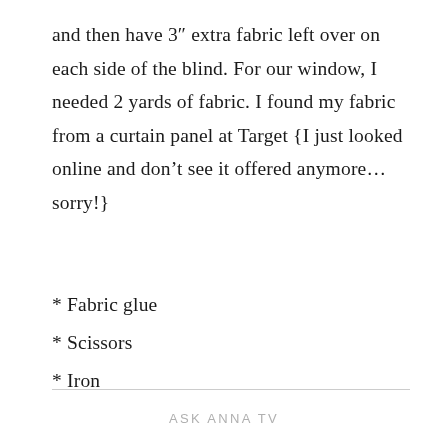and then have 3″ extra fabric left over on each side of the blind. For our window, I needed 2 yards of fabric. I found my fabric from a curtain panel at Target {I just looked online and don’t see it offered anymore… sorry!}
* Fabric glue
* Scissors
* Iron
ASK ANNA TV